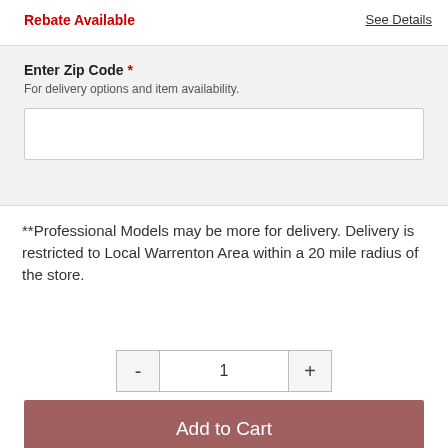Rebate Available
See Details
Enter Zip Code *
For delivery options and item availability.
**Professional Models may be more for delivery. Delivery is restricted to Local Warrenton Area within a 20 mile radius of the store.
1
Add to Cart
Share This Item